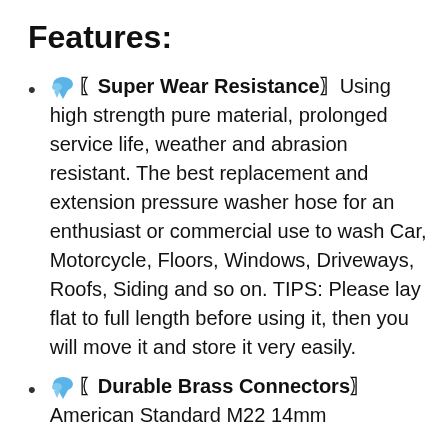Features:
💧〖Super Wear Resistance〗Using high strength pure material, prolonged service life, weather and abrasion resistant. The best replacement and extension pressure washer hose for an enthusiast or commercial use to wash Car, Motorcycle, Floors, Windows, Driveways, Roofs, Siding and so on. TIPS: Please lay flat to full length before using it, then you will move it and store it very easily.
💧〖Durable Brass Connectors〗American Standard M22 14mm